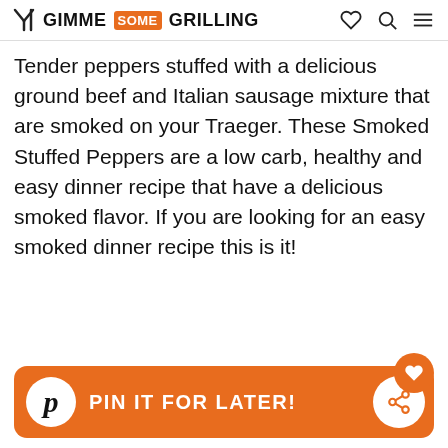GIMME SOME GRILLING
Tender peppers stuffed with a delicious ground beef and Italian sausage mixture that are smoked on your Traeger. These Smoked Stuffed Peppers are a low carb, healthy and easy dinner recipe that have a delicious smoked flavor. If you are looking for an easy smoked dinner recipe this is it!
[Figure (infographic): Orange PIN IT FOR LATER! button with Pinterest logo on the left and share icon on the right]
[Figure (photo): Bottom portion of a food photo showing smoked stuffed peppers on a dark surface]